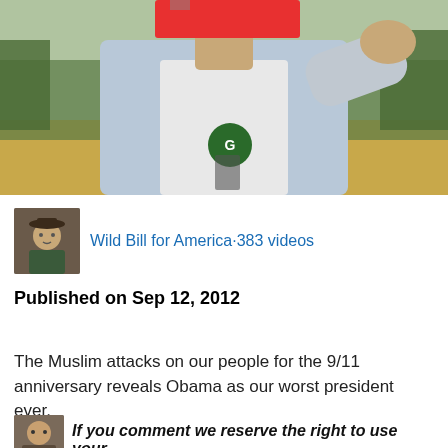[Figure (photo): Person in a denim jacket and white hoodie pointing at the camera, outdoors with a meadow/forest background. A red rectangle overlays the upper portion of the face.]
Wild Bill for America·383 videos
Published on Sep 12, 2012
The Muslim attacks on our people for the 9/11 anniversary reveals Obama as our worst president ever.
If you comment we reserve the right to use your